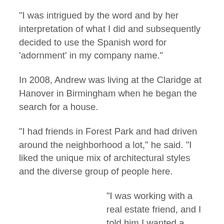“I was intrigued by the word and by her interpretation of what I did and subsequently decided to use the Spanish word for ‘adornment’ in my company name.”
In 2008, Andrew was living at the Claridge at Hanover in Birmingham when he began the search for a house.
“I had friends in Forest Park and had driven around the neighborhood a lot,” he said. “I liked the unique mix of architectural styles and the diverse group of people here.
“I was working with a real estate friend, and I told him I wanted a project. I didn’t want to pay for renovations that someone else had done since I wanted to